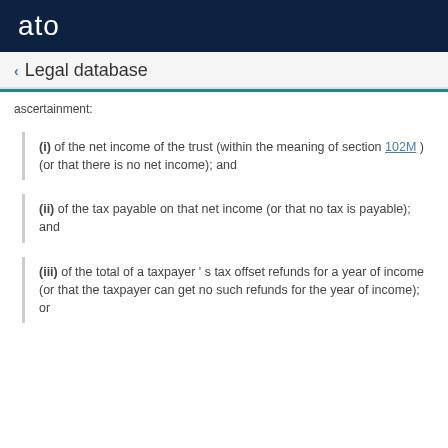ato
Legal database
ascertainment:
(i) of the net income of the trust (within the meaning of section 102M ) (or that there is no net income); and
(ii) of the tax payable on that net income (or that no tax is payable); and
(iii) of the total of a taxpayer ' s tax offset refunds for a year of income (or that the taxpayer can get no such refunds for the year of income); or